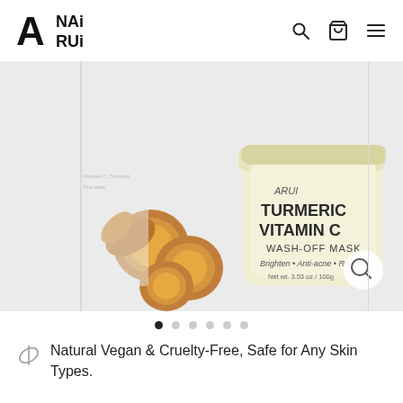[Figure (logo): ANAi ARUi brand logo in bold black font with geometric A icon]
[Figure (photo): Product photo of ARUI Turmeric Vitamin C Wash-Off Mask jar with turmeric root pieces around it on a light background]
Natural Vegan & Cruelty-Free, Safe for Any Skin Types.
Price
$26.90